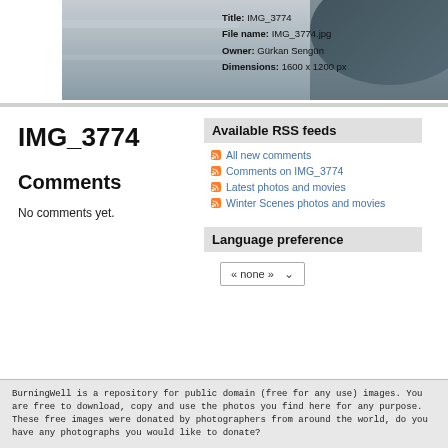[Figure (photo): Top banner showing a grey winter/car scene photograph with dark area on right side]
Title: IMG_3774
File name: IMG_3774.jpg
Owner: Gürkan Sengün
Dimensions: 1600 x 1200 px
IMG_3774
Available RSS feeds
All new comments
Comments on IMG_3774
Latest photos and movies
Winter Scenes photos and movies
Comments
No comments yet.
Language preference
« none »
BurningWell is a repository for public domain (free for any use) images. You are free to download, copy and use the photos you find here for any purpose. These free images were donated by photographers from around the world, do you have any photographs you would like to donate?